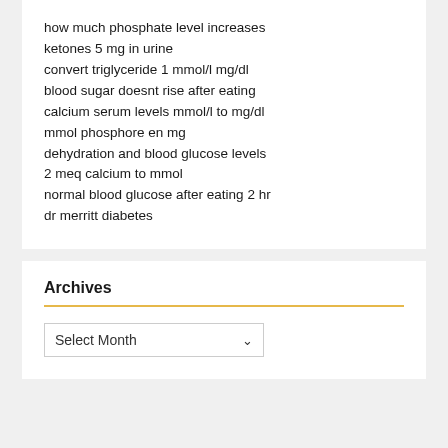how much phosphate level increases
ketones 5 mg in urine
convert triglyceride 1 mmol/l mg/dl
blood sugar doesnt rise after eating
calcium serum levels mmol/l to mg/dl
mmol phosphore en mg
dehydration and blood glucose levels
2 meq calcium to mmol
normal blood glucose after eating 2 hr
dr merritt diabetes
Archives